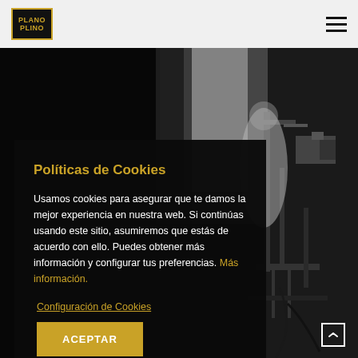PLANO PLINO logo and hamburger menu
[Figure (photo): Black and white photo of a film set with camera equipment and a person in white dress/clothing, dark moody lighting]
Políticas de Cookies
Usamos cookies para asegurar que te damos la mejor experiencia en nuestra web. Si continúas usando este sitio, asumiremos que estás de acuerdo con ello. Puedes obtener más información y configurar tus preferencias. Más información.
Configuración de Cookies
ACEPTAR